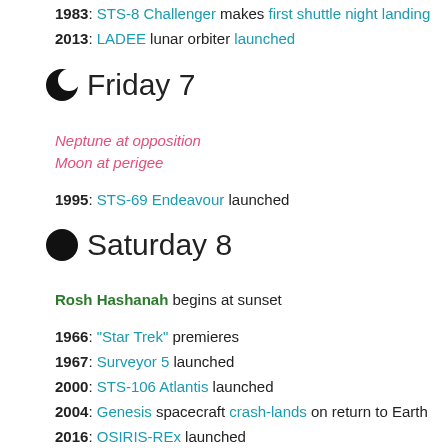1983: STS-8 Challenger makes first shuttle night landing
2013: LADEE lunar orbiter launched
Friday 7
Neptune at opposition
Moon at perigee
1995: STS-69 Endeavour launched
Saturday 8
Rosh Hashanah begins at sunset
1966: "Star Trek" premieres
1967: Surveyor 5 launched
2000: STS-106 Atlantis launched
2004: Genesis spacecraft crash-lands on return to Earth
2016: OSIRIS-REx launched